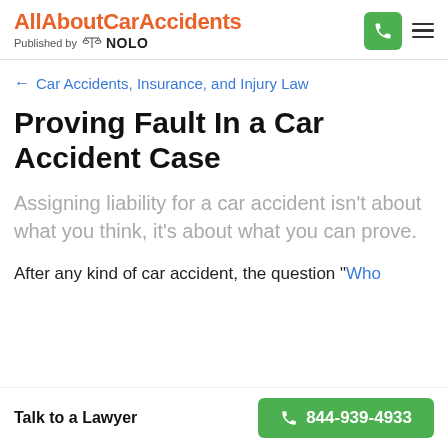AllAboutCarAccidents — Published by NOLO
← Car Accidents, Insurance, and Injury Law
Proving Fault In a Car Accident Case
Assigning liability for a car accident isn't about what you think, it's about what you can prove.
After any kind of car accident, the question "Who
Talk to a Lawyer  844-939-4933